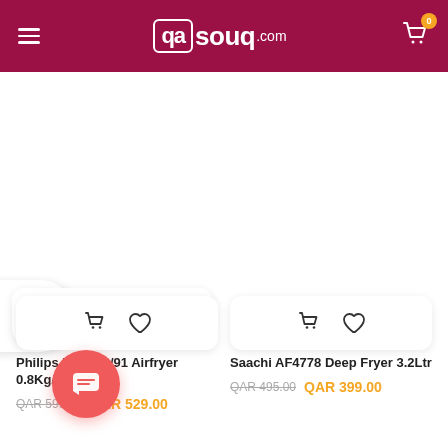qasouq.com
[Figure (screenshot): Filter button with funnel icon on left edge]
Philips HD9252/91 Airfryer 0.8Kg/4.1Ltr
QAR 599.00 QAR 529.00
Saachi AF4778 Deep Fryer 3.2Ltr
QAR 495.00 QAR 399.00
[Figure (screenshot): Chat support button at bottom left]